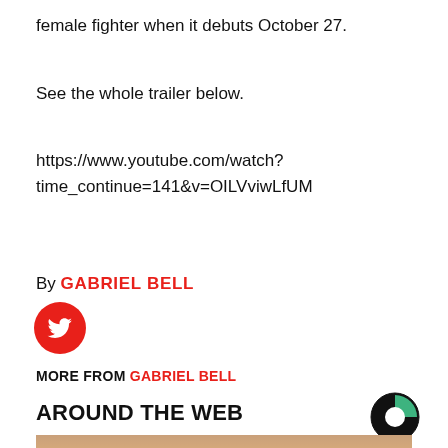female fighter when it debuts October 27.
See the whole trailer below.
https://www.youtube.com/watch?
time_continue=141&v=OILVviwLfUM
By GABRIEL BELL
[Figure (logo): Twitter bird icon — red circle with white Twitter bird logo]
MORE FROM GABRIEL BELL
AROUND THE WEB
[Figure (logo): Outbrain logo — black circle with green quarter segment]
[Figure (photo): Cropped photo of a blonde woman wearing glasses, close-up on face]